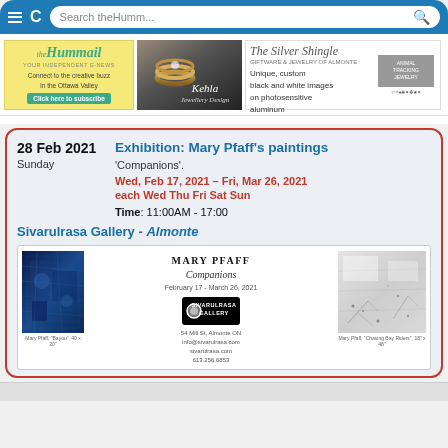Search theHumm...
[Figure (screenshot): Browser navigation bar with hamburger menu, refresh button, and search field]
[Figure (logo): theHummail ad: Connect to the creative buzz in the Ottawa Valley - Click here to subscribe]
[Figure (photo): Kehla Jewellery Design ad with gold rings photo]
[Figure (infographic): The Silver Shingle ad: Unique, custom black and white images on photosensitive aluminum]
28 Feb 2021 Sunday
Exhibition: Mary Pfaff's paintings
'Companions'.
Wed, Feb 17, 2021 – Fri, Mar 26, 2021
each Wed Thu Fri Sat Sun
Time: 11:00AM - 17:00
Sivarulrasa Gallery - Almonte
[Figure (photo): Mary Pfaff exhibition poster showing two paintings: 'Bayou' (blue) and 'Chasing Bay Riders' (gray/white), with Sivarulrasa Gallery logo, February 17 - March 26, 2021]